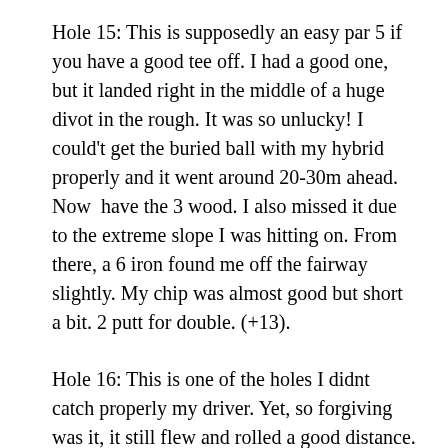Hole 15: This is supposedly an easy par 5 if you have a good tee off. I had a good one, but it landed right in the middle of a huge divot in the rough. It was so unlucky! I could't get the buried ball with my hybrid properly and it went around 20-30m ahead. Now  have the 3 wood. I also missed it due to the extreme slope I was hitting on. From there, a 6 iron found me off the fairway slightly. My chip was almost good but short a bit. 2 putt for double. (+13).
Hole 16: This is one of the holes I didnt catch properly my driver. Yet, so forgiving was it, it still flew and rolled a good distance. It left me around 140m to the green. Once more, the MP-57 was tough to hit. My 8-iron was short and left. Chip on wasn't superb and had to two putt for bogey. (+14)
Hole 17: Easy par 3 and this time I made sure I stayed